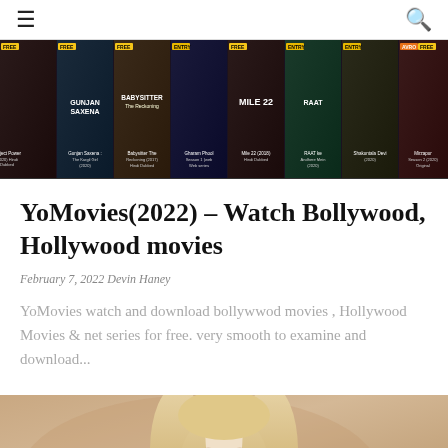≡  🔍
[Figure (screenshot): Movie streaming website banner showing multiple Bollywood and Hollywood movie posters in a horizontal strip including Gunjan Saxena, Babysitter The Reckoning, Mile 22, Raat and others with FREE and AVRO tags]
YoMovies(2022) – Watch Bollywood, Hollywood movies
February 7, 2022 Devin Haney
YoMovies watch and download bollywwod movies , Hollywood Movies & net series for free. very smooth to examine and download...
[Figure (photo): Photo of a blonde woman from the shoulders up against a neutral beige/brown background]